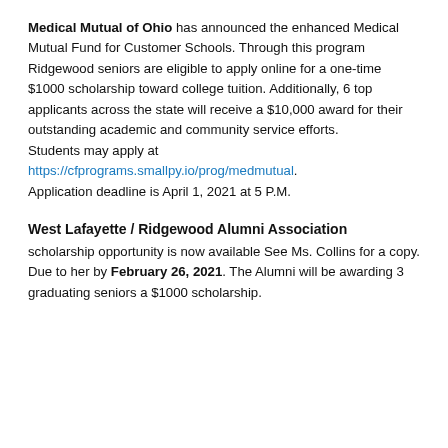Medical Mutual of Ohio has announced the enhanced Medical Mutual Fund for Customer Schools. Through this program Ridgewood seniors are eligible to apply online for a one-time $1000 scholarship toward college tuition. Additionally, 6 top applicants across the state will receive a $10,000 award for their outstanding academic and community service efforts. Students may apply at https://cfprograms.smallpy.io/prog/medmutual. Application deadline is April 1, 2021 at 5 P.M.
West Lafayette / Ridgewood Alumni Association
scholarship opportunity is now available See Ms. Collins for a copy. Due to her by February 26, 2021. The Alumni will be awarding 3 graduating seniors a $1000 scholarship.